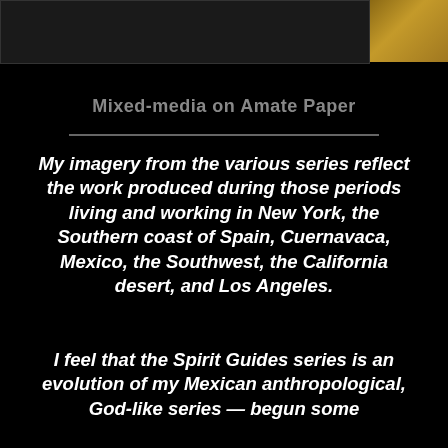[Figure (photo): Dark photograph strip at top, showing a partial dark image on the left and a tan/golden textured panel on the right]
Mixed-media on Amate Paper
My imagery from the various series reflect the work produced during those periods living and working in New York, the Southern coast of Spain, Cuernavaca, Mexico, the Southwest, the California desert, and Los Angeles.
I feel that the Spirit Guides series is an evolution of my Mexican anthropological, God-like series — begun some